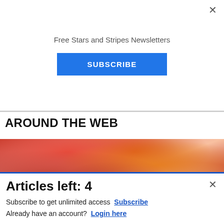Free Stars and Stripes Newsletters
SUBSCRIBE
AROUND THE WEB
[Figure (photo): Close-up photo of raw meat with reddish-pink tones]
[Figure (screenshot): Advertisement banner for Commissary Click2Go showing logo and order groceries text]
Articles left: 4
Subscribe to get unlimited access  Subscribe
Already have an account?  Login here